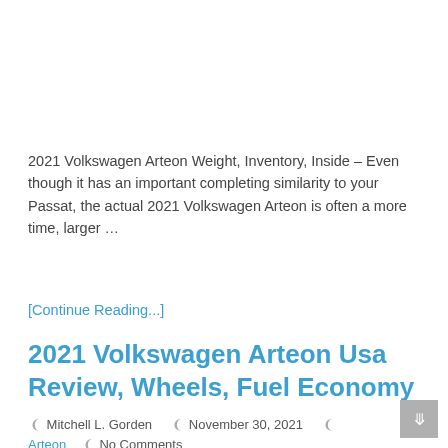2021 Volkswagen Arteon Weight, Inventory, Inside – Even though it has an important completing similarity to your Passat, the actual 2021 Volkswagen Arteon is often a more time, larger …
[Continue Reading...]
2021 Volkswagen Arteon Usa Review, Wheels, Fuel Economy
Mitchell L. Gorden  |  November 30, 2021  |  Arteon  |  No Comments